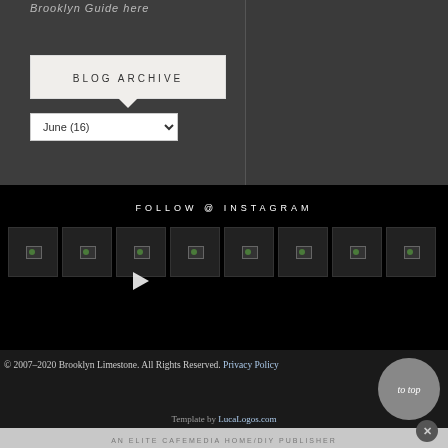Brooklyn Guide here
BLOG ARCHIVE
June (16)
FOLLOW @ INSTAGRAM
[Figure (photo): Row of 8 broken Instagram thumbnail images with a play button on the third]
© 2007–2020 Brooklyn Limestone. All Rights Reserved. Privacy Policy
Template by LucaLogos.com
AN ELITE CAFEMEDIA HOME/DIY PUBLISHER